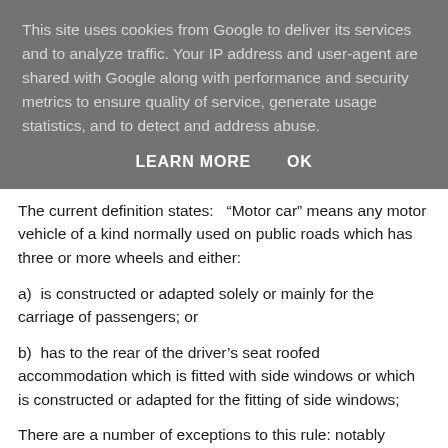This site uses cookies from Google to deliver its services and to analyze traffic. Your IP address and user-agent are shared with Google along with performance and security metrics to ensure quality of service, generate usage statistics, and to detect and address abuse.
LEARN MORE    OK
The current definition states:   “Motor car” means any motor vehicle of a kind normally used on public roads which has three or more wheels and either:
a)  is constructed or adapted solely or mainly for the carriage of passengers; or
b)  has to the rear of the driver’s seat roofed accommodation which is fitted with side windows or which is constructed or adapted for the fitting of side windows;
There are a number of exceptions to this rule: notably vehicles constructed to carry a payload of one tonne or more, i.e. double cab pick-ups such as a Toyota Hilux.